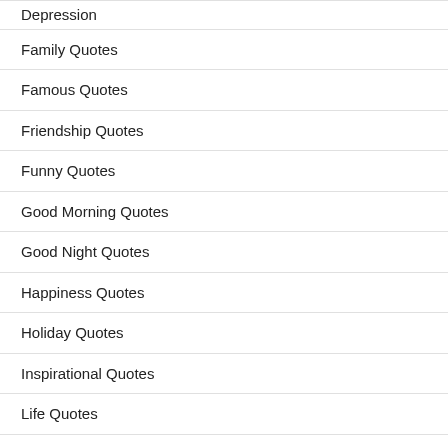Depression
Family Quotes
Famous Quotes
Friendship Quotes
Funny Quotes
Good Morning Quotes
Good Night Quotes
Happiness Quotes
Holiday Quotes
Inspirational Quotes
Life Quotes
Love Quotes
Movie Quotes
Moving On Quotes